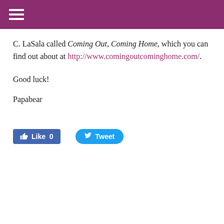≡
C. LaSala called Coming Out, Coming Home, which you can find out about at http://www.comingoutcominghome.com/.
Good luck!
Papabear
[Figure (other): Facebook Like button (count: 0) and Twitter Tweet button]